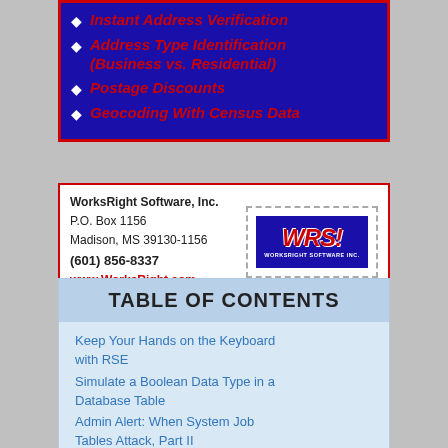Instant Address Verification
Address Type Identification (Business vs. Residential)
Postage Discounts
Geocoding With Census Data
WorksRight Software, Inc.
P.O. Box 1156
Madison, MS 39130-1156
(601) 856-8337
www.WorksRight.com
[Figure (logo): WRSI - WorksRight Software Inc. logo in blue box with red bold italic text]
TABLE OF CONTENTS
Keep Your Hands on the Keyboard with RSE
Simulate a Boolean Data Type in a Database Table
Admin Alert: When System Job Tables Attack, Part II